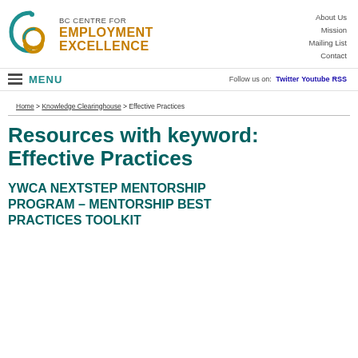[Figure (logo): BC Centre for Employment Excellence logo with circular abstract mark in teal and gold]
About Us
Mission
Mailing List
Contact
MENU   Follow us on: Twitter Youtube RSS
Home > Knowledge Clearinghouse > Effective Practices
Resources with keyword: Effective Practices
YWCA NEXTSTEP MENTORSHIP PROGRAM – MENTORSHIP BEST PRACTICES TOOLKIT